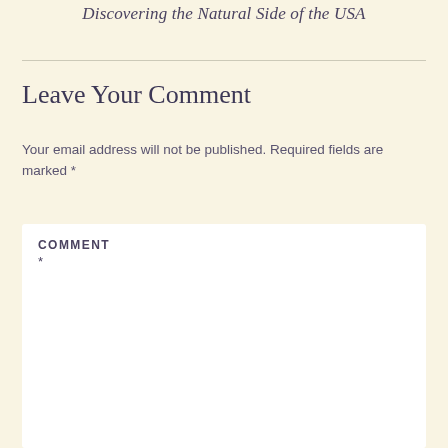Discovering the Natural Side of the USA
Leave Your Comment
Your email address will not be published. Required fields are marked *
COMMENT *